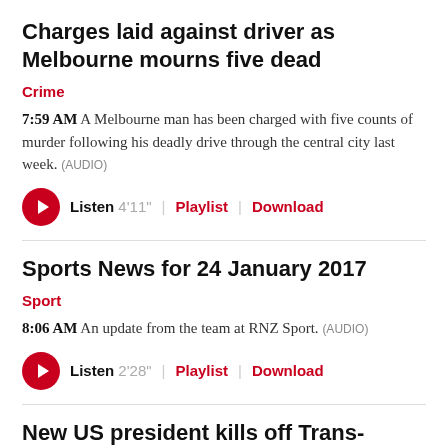Charges laid against driver as Melbourne mourns five dead
Crime
7:59 AM A Melbourne man has been charged with five counts of murder following his deadly drive through the central city last week. (AUDIO)
Listen 4'11" | Playlist | Download
Sports News for 24 January 2017
Sport
8:06 AM An update from the team at RNZ Sport. (AUDIO)
Listen 2'28" | Playlist | Download
New US president kills off Trans-Pacific Partnership